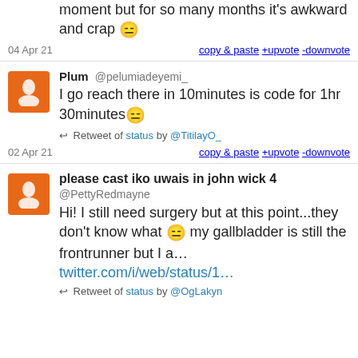moment but for so many months it's awkward and crap 😑
04 Apr 21    copy & paste +upvote -downvote
Plum @pelumiadeyemi_
I go reach there in 10minutes is code for 1hr 30minutes😑
↩ Retweet of status by @TitilayO_
02 Apr 21    copy & paste +upvote -downvote
please cast iko uwais in john wick 4
@PettyRedmayne
Hi! I still need surgery but at this point...they don't know what 😑 my gallbladder is still the frontrunner but I a… twitter.com/i/web/status/1...
↩ Retweet of status by @OgLakyn